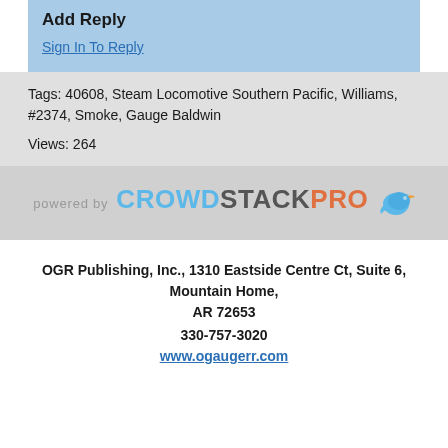Add Reply
Sign In To Reply
Tags: 40608, Steam Locomotive Southern Pacific, Williams, #2374, Smoke, Gauge Baldwin
Views: 264
[Figure (logo): powered by CROWDSTACKPRO logo with blue bird icon]
OGR Publishing, Inc., 1310 Eastside Centre Ct, Suite 6, Mountain Home, AR 72653
330-757-3020
www.ogaugerr.com